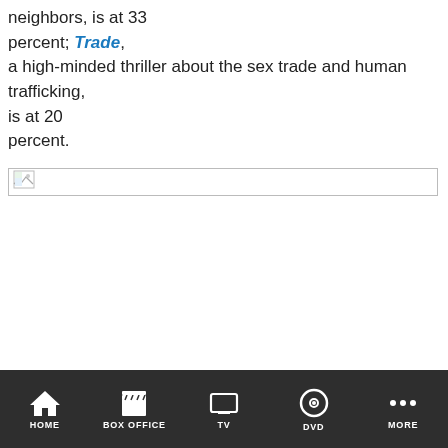neighbors, is at 33 percent; Trade, a high-minded thriller about the sex trade and human trafficking, is at 20 percent.
[Figure (other): Broken image placeholder — a rectangular image container with a broken image icon in the top-left corner]
HOME | BOX OFFICE | TV | DVD | MORE